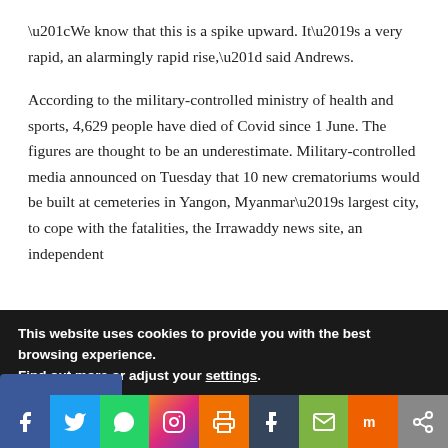“We know that this is a spike upward. It’s a very rapid, an alarmingly rapid rise,” said Andrews.
According to the military-controlled ministry of health and sports, 4,629 people have died of Covid since 1 June. The figures are thought to be an underestimate. Military-controlled media announced on Tuesday that 10 new crematoriums would be built at cemeteries in Yangon, Myanmar’s largest city, to cope with the fatalities, the Irrawaddy news site, an independent
This website uses cookies to provide you with the best browsing experience.
Find out more or adjust your settings.
[Figure (infographic): Social media share buttons row: Facebook (blue), Twitter (light blue), WhatsApp (green), Instagram (gradient), Print (orange), Tumblr (dark blue-grey), Email (green), Mix (orange), Share (grey)]